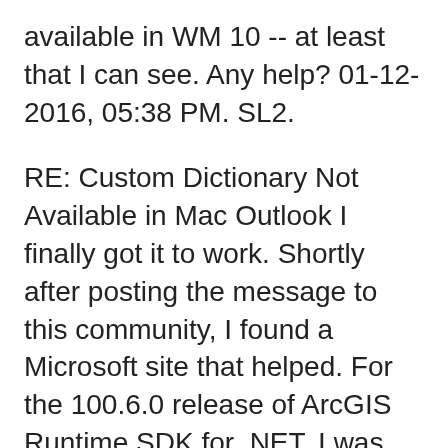available in WM 10 -- at least that I can see. Any help? 01-12-2016, 05:38 PM. SL2.
RE: Custom Dictionary Not Available in Mac Outlook I finally got it to work. Shortly after posting the message to this community, I found a Microsoft site that helped. For the 100.6.0 release of ArcGIS Runtime SDK for .NET, I was tasked with writing documentation for using dictionary styles. Since I canвЂ™t learn without getting my hands dirty, I used this as an opportunity to create my own custom dictionary style.
MIS > Custom Defined Routines > Operations Entry/Edit Header Text field...